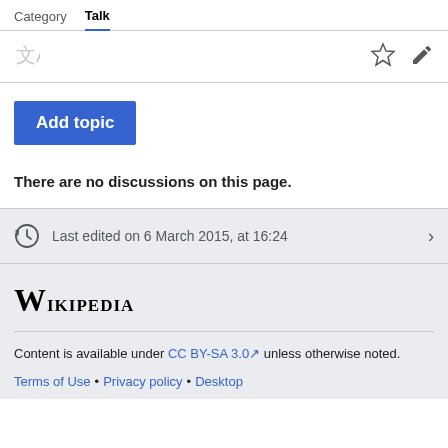Category  Talk
Add topic
There are no discussions on this page.
Last edited on 6 March 2015, at 16:24
Wikipedia
Content is available under CC BY-SA 3.0 unless otherwise noted.
Terms of Use • Privacy policy • Desktop